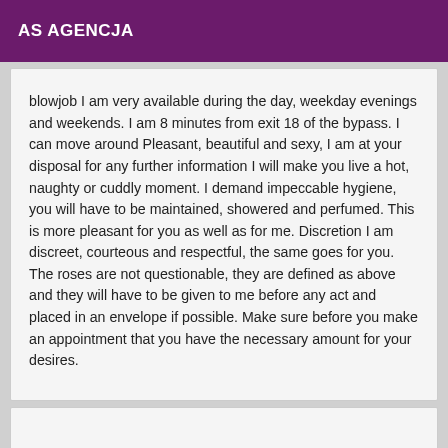AS AGENCJA
blowjob I am very available during the day, weekday evenings and weekends. I am 8 minutes from exit 18 of the bypass. I can move around Pleasant, beautiful and sexy, I am at your disposal for any further information I will make you live a hot, naughty or cuddly moment. I demand impeccable hygiene, you will have to be maintained, showered and perfumed. This is more pleasant for you as well as for me. Discretion I am discreet, courteous and respectful, the same goes for you. The roses are not questionable, they are defined as above and they will have to be given to me before any act and placed in an envelope if possible. Make sure before you make an appointment that you have the necessary amount for your desires.